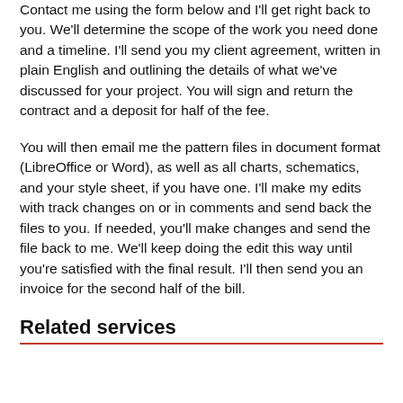Contact me using the form below and I'll get right back to you. We'll determine the scope of the work you need done and a timeline. I'll send you my client agreement, written in plain English and outlining the details of what we've discussed for your project. You will sign and return the contract and a deposit for half of the fee.
You will then email me the pattern files in document format (LibreOffice or Word), as well as all charts, schematics, and your style sheet, if you have one. I'll make my edits with track changes on or in comments and send back the files to you. If needed, you'll make changes and send the file back to me. We'll keep doing the edit this way until you're satisfied with the final result. I'll then send you an invoice for the second half of the bill.
Related services